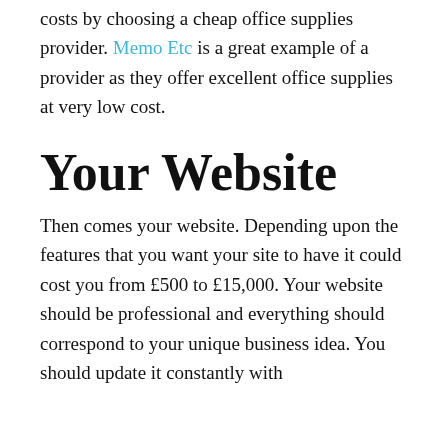costs by choosing a cheap office supplies provider. Memo Etc is a great example of a provider as they offer excellent office supplies at very low cost.
Your Website
Then comes your website. Depending upon the features that you want your site to have it could cost you from £500 to £15,000. Your website should be professional and everything should correspond to your unique business idea. You should update it constantly with